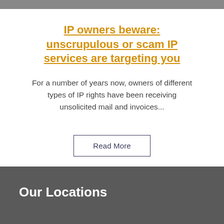[Figure (photo): Partial image strip at top of page showing two people, cropped]
IP owners beware: unscrupulous or scam IP services are targeting you
For a number of years now, owners of different types of IP rights have been receiving unsolicited mail and invoices...
Read More
Our Locations